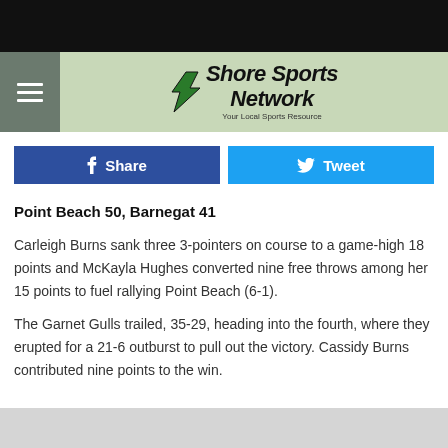Shore Sports Network
f Share   Tweet
Point Beach 50, Barnegat 41
Carleigh Burns sank three 3-pointers on course to a game-high 18 points and McKayla Hughes converted nine free throws among her 15 points to fuel rallying Point Beach (6-1).
The Garnet Gulls trailed, 35-29, heading into the fourth, where they erupted for a 21-6 outburst to pull out the victory. Cassidy Burns contributed nine points to the win.